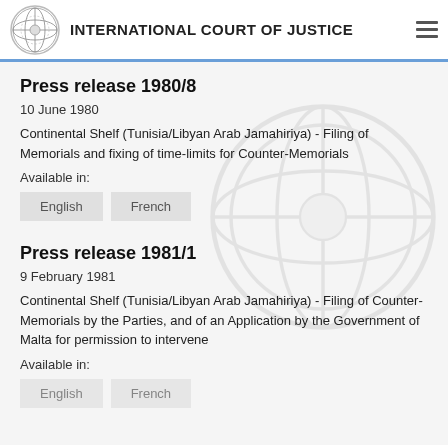INTERNATIONAL COURT OF JUSTICE
Press release 1980/8
10 June 1980
Continental Shelf (Tunisia/Libyan Arab Jamahiriya) - Filing of Memorials and fixing of time-limits for Counter-Memorials
Available in:
English  French
Press release 1981/1
9 February 1981
Continental Shelf (Tunisia/Libyan Arab Jamahiriya) - Filing of Counter-Memorials by the Parties, and of an Application by the Government of Malta for permission to intervene
Available in:
English  French